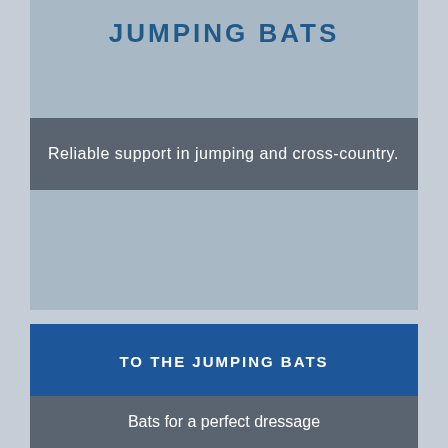JUMPING BATS
Reliable support in jumping and cross-country.
TO THE JUMPING BATS
DRESSAGE WHIPS
Bats for a perfect dressage